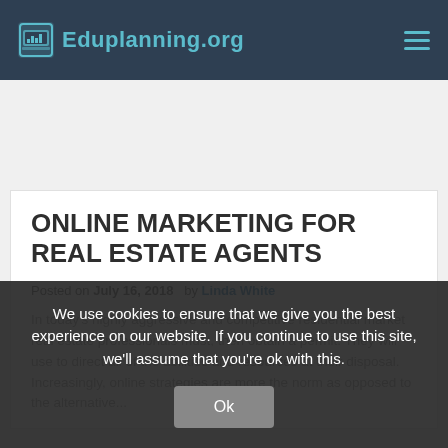Eduplanning.org
ONLINE MARKETING FOR REAL ESTATE AGENTS
Posted on July 16, 2018 by Linda White
In today's highly aggressive and competitive residential market real estate professionals must, then obtain a permit. They will use to direct all of the abilities and resources at their disposal. Increasingly, online strategies are more the norm as opposed to the alternative...
We use cookies to ensure that we give you the best experience on our website. If you continue to use this site, we'll assume that you're ok with this.